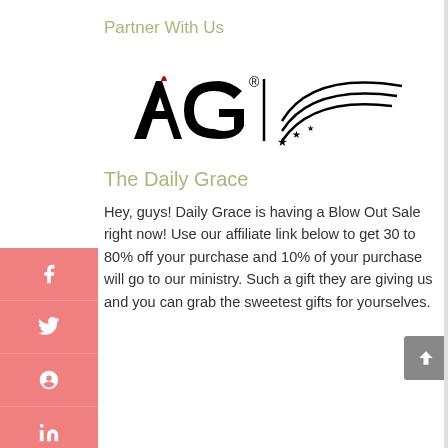Partner With Us
[Figure (logo): AG logo with stylized bird/wing graphic]
The Daily Grace
Hey, guys! Daily Grace is having a Blow Out Sale right now! Use our affiliate link below to get 30 to 80% off your purchase and 10% of your purchase will go to our ministry. Such a gift they are giving us and you can grab the sweetest gifts for yourselves.